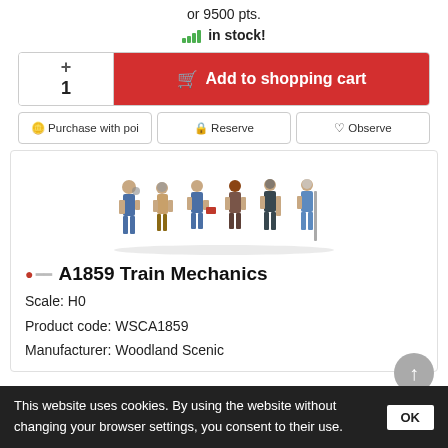or 9500 pts.
in stock!
1   +  −   Add to shopping cart
Purchase with poi   Reserve   Observe
[Figure (photo): Six model train mechanic figures in HO scale, standing in a row, wearing work uniforms and carrying tools.]
A1859 Train Mechanics
Scale: H0
Product code: WSCA1859
Manufacturer: Woodland Scenic
This website uses cookies. By using the website without changing your browser settings, you consent to their use.